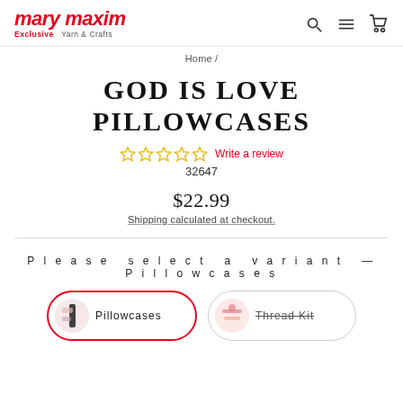mary maxim Exclusive Yarn & Crafts
Home /
GOD IS LOVE PILLOWCASES
☆☆☆☆☆ Write a review
32647
$22.99
Shipping calculated at checkout.
Please select a variant — Pillowcases
Pillowcases
Thread Kit